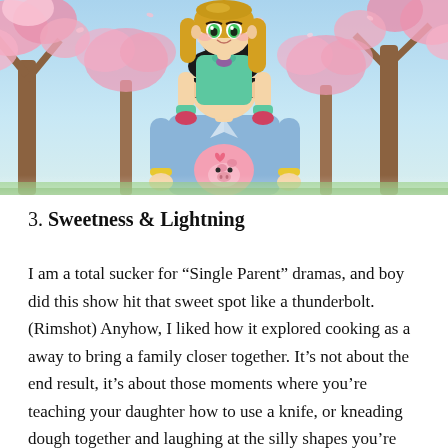[Figure (illustration): Anime illustration showing a tall young man with dark spiky hair and glasses carrying a small girl with long blonde hair on his shoulders. The girl holds a pink pig-shaped stuffed animal. They are surrounded by blooming pink cherry blossom trees against a blue sky.]
3. Sweetness & Lightning
I am a total sucker for “Single Parent” dramas, and boy did this show hit that sweet spot like a thunderbolt. (Rimshot) Anyhow, I liked how it explored cooking as a away to bring a family closer together. It’s not about the end result, it’s about those moments where you’re teaching your daughter how to use a knife, or kneading dough together and laughing at the silly shapes you’re making out of the dough. It’s a show more about the importance of the little